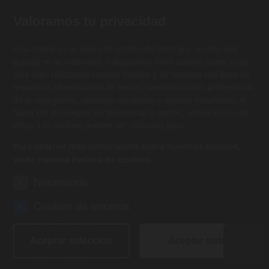tistique sed, sodales ac metus. Cras sagittis.
Valoramos tu privacidad
quam tempus porta.
Una cookie es un pequeño archivo de texto que un sitio web guarda en su ordenador o dispositivo móvil cuando usted visita este sitio. Utilizamos cookies propias y de terceros con fines de seguridad, identificación de sesión, caracterización, preferencias de la navegación, selección de idioma y análisis estadístico. Al hacer clic en aceptar sin desmarcar la opción, admite el uso de estas. Las cookies pueden ser utilizadas para
Para obtener más información sobre nuestras cookies, visite nuestra Política de cookies.
CONTACT GROUPS
Necesarios
Cookies de terceros
How to find us.
Aceptar selección
Aceptar todo
Lorem ipsum dolor sit amet, consectetur adipiscing el